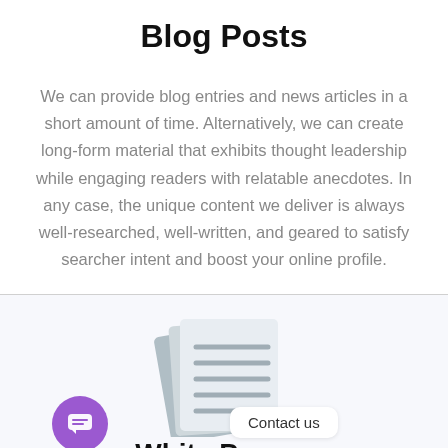Blog Posts
We can provide blog entries and news articles in a short amount of time. Alternatively, we can create long-form material that exhibits thought leadership while engaging readers with relatable anecdotes. In any case, the unique content we deliver is always well-researched, well-written, and geared to satisfy searcher intent and boost your online profile.
[Figure (illustration): Stacked document pages icon with lines representing text, rendered in light blue-gray tones]
Contact us
White Papers